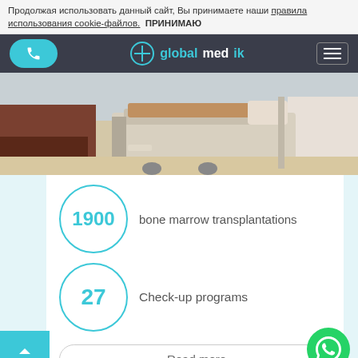Продолжая использовать данный сайт, Вы принимаете наши правила использования cookie-файлов.  ПРИНИМАЮ
[Figure (screenshot): Website navigation bar with globalmedik logo, phone button, and hamburger menu on dark background]
[Figure (photo): Hospital room with medical bed and equipment]
1900 bone marrow transplantations
27 Check-up programs
Read more